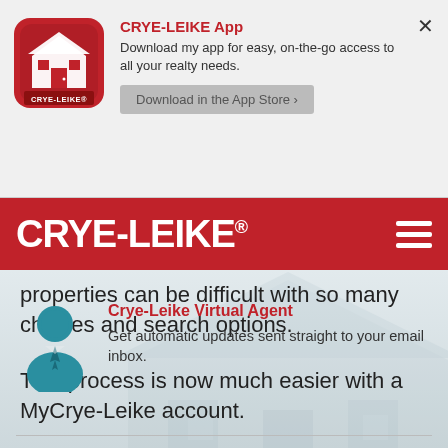[Figure (logo): Crye-Leike app icon: red rounded square with white house silhouette and CRYE-LEIKE text below]
CRYE-LEIKE App
Download my app for easy, on-the-go access to all your realty needs.
Download in the App Store >
CRYE-LEIKE®
properties can be difficult with so many choices and search options.
This process is now much easier with a MyCrye-Leike account.
[Figure (illustration): Teal/blue person icon representing a virtual agent]
Crye-Leike Virtual Agent
Get automatic updates sent straight to your email inbox.